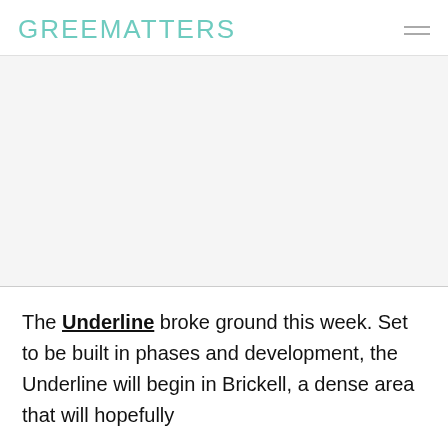GREENMATTERS
[Figure (photo): Large image area, appears blank/white in this crop]
The Underline broke ground this week. Set to be built in phases and development, the Underline will begin in Brickell, a dense area that will hopefully